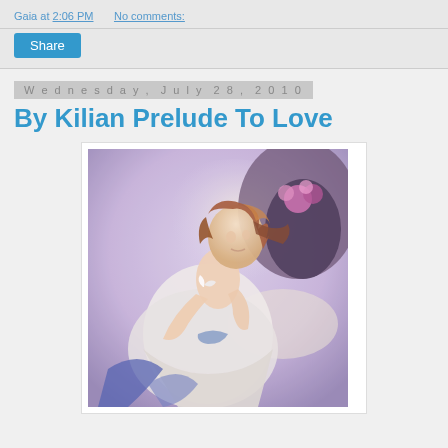Gaia at 2:06 PM   No comments:
Share
Wednesday, July 28, 2010
By Kilian Prelude To Love
[Figure (illustration): Painting by Kilian titled 'Prelude To Love' showing a young woman in a white dress with flowing auburn hair, seated, looking down, with flowers and a vase in the background, soft romantic style artwork.]